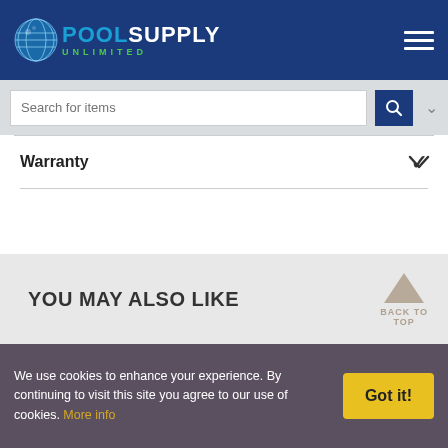[Figure (logo): Pool Supply Unlimited logo with globe icon and navy header background]
Search for items
Warranty
YOU MAY ALSO LIKE
We use cookies to enhance your experience. By continuing to visit this site you agree to our use of cookies. More info
Got it!